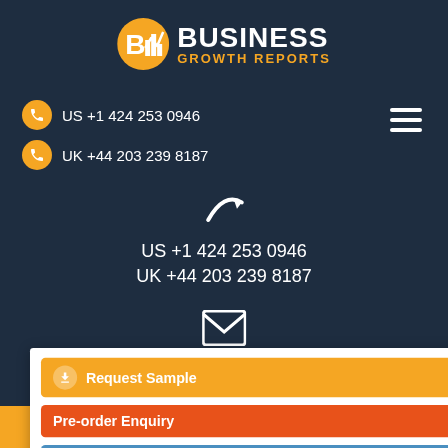[Figure (logo): Business Growth Reports logo with orange bar chart icon and white/orange text]
US +1 424 253 0946
UK +44 203 239 8187
US +1 424 253 0946
UK +44 203 239 8187
sales@businessgrowthreports.com
Request Sample
Pre-order Enquiry
Request Customization
Enter Your Email Address
SUBMIT
go to Top